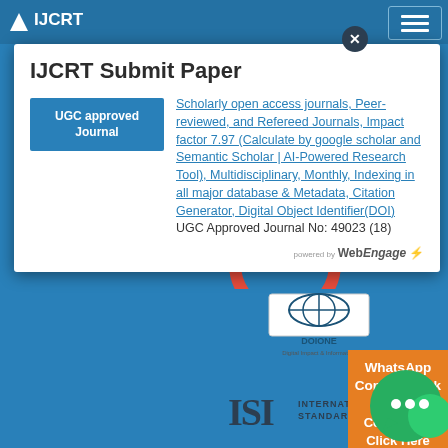[Figure (screenshot): IJCRT website header with blue background, logo text 'IJCRT', hamburger menu button on right]
IJCRT Submit Paper
UGC approved Journal
Scholarly open access journals, Peer-reviewed, and Refereed Journals, Impact factor 7.97 (Calculate by google scholar and Semantic Scholar | AI-Powered Research Tool), Multidisciplinary, Monthly, Indexing in all major database & Metadata, Citation Generator, Digital Object Identifier(DOI) UGC Approved Journal No: 49023 (18)
Attribution-
WhatsApp Contact Click Here
Contact Us Click Here
[Figure (logo): DOIONE - Digital Object Identifier logo]
[Figure (logo): International Standard logo with ISI mark]